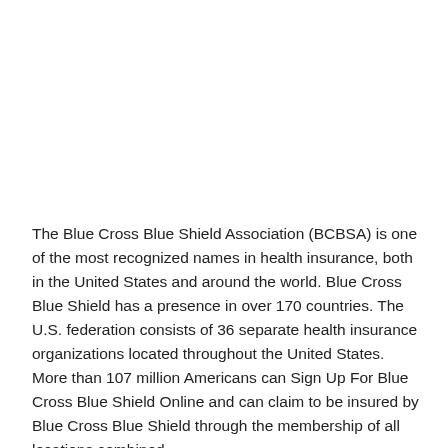The Blue Cross Blue Shield Association (BCBSA) is one of the most recognized names in health insurance, both in the United States and around the world. Blue Cross Blue Shield has a presence in over 170 countries. The U.S. federation consists of 36 separate health insurance organizations located throughout the United States. More than 107 million Americans can Sign Up For Blue Cross Blue Shield Online and can claim to be insured by Blue Cross Blue Shield through the membership of all locations combined.